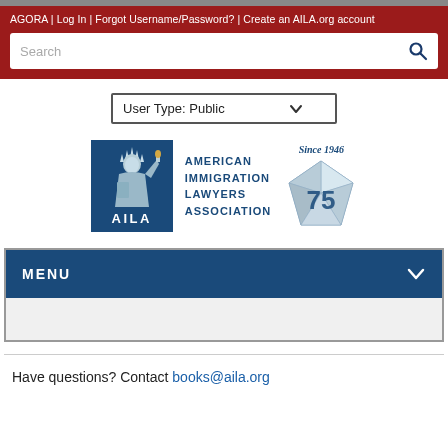AGORA | Log In | Forgot Username/Password? | Create an AILA.org account
[Figure (logo): AILA - American Immigration Lawyers Association logo with Statue of Liberty and 75th anniversary diamond badge]
User Type: Public
MENU
Have questions? Contact books@aila.org